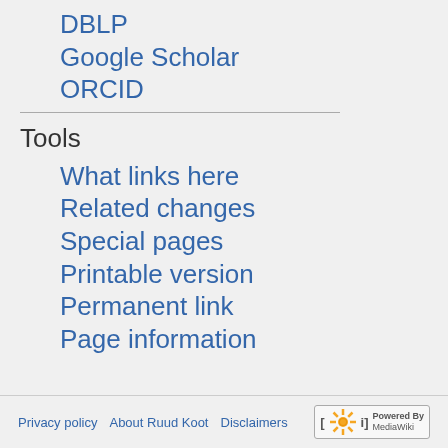DBLP
Google Scholar
ORCID
Tools
What links here
Related changes
Special pages
Printable version
Permanent link
Page information
Privacy policy   About Ruud Koot   Disclaimers